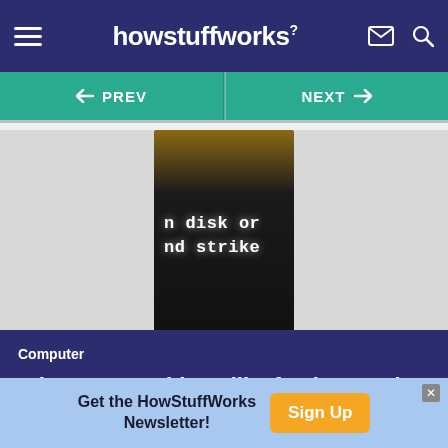howstuffworks
← PREV   NEXT →
[Figure (photo): Close-up photo of a dark computer screen showing white text: 'n disk or' and 'nd strike', referencing a BIOS boot error message.]
Computer
What causes things like fatal exception errors?
Get the HowStuffWorks Newsletter! Sign Up